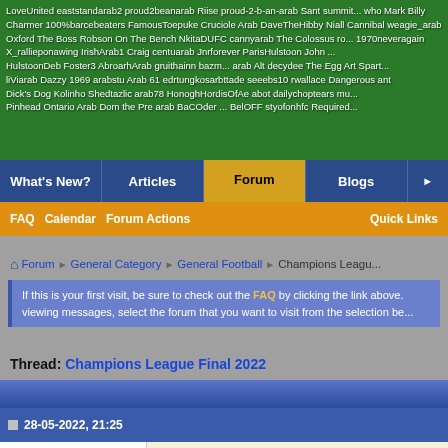[Figure (photo): Green grass stadium background with usernames overlaid in white text: LoveUnited eaststandarab2 proud2beanarab Riise proud-2-b-an-arab Sant summit... Mark Billy Charmer 100%barcebeaters FamousToepuke Cruciole Arab DaveTheHibby Niall Cannibal weagle_arab Oxford The Boss Robson On The Bench NkitaDUFC cannyarab The Colossus ro... 1970neveragain X_rallieponawing IrishArab1 Craig centuarab Jnrforever ParisHulstoon John ... HulstoonDeb Foster3 AbroarhArab gruithainn bazm... arab Alt decydee The Egg Art Spart... liViarab Dazzy 1969 arabstu Arab 61 edrtungkosarbttade seeebs10 rwallace Dangerous ant Dick's Dog Kolinho Shedtazlic arab78 HonoghHordisOfAe abot dailychoptears mu... Pinhead Ontario Arab Dom the Pre arab BaCOder BelOFF styofonhfc Required...]
What's New? | Articles | Forum | Blogs
FAQ  Calendar  Forum Actions  Quick Links
Forum > General Category > General Football > Champions League...
If this is your first visit, be sure to check out the FAQ by clicking the link above. viewing messages, select the forum that you want to visit from the selection be...
Thread: Champions League Final 2022
28-05-2022, 21:25
GoldenArab
Same old, same old.